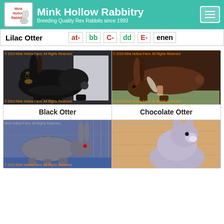Mink Hollow Rabbitry — Breeding Quality Rex Rabbits since 1993
Lilac Otter  at-  bb  C-  dd  E-  enen
[Figure (photo): Photo of a Black Otter Rex rabbit, side profile, dark black fur with otter markings. Copyright 2010 Mink Hollow Farm.]
Black Otter
[Figure (photo): Photo of a Chocolate Otter Rex rabbit, side profile, chocolate brown fur with otter markings. Copyright 2010 Mink Hollow Farm.]
Chocolate Otter
[Figure (photo): Photo of a Blue Otter Rex rabbit, standing, blue-grey fur. Copyright 2010 Mink Hollow Farm.]
[Figure (photo): Photo of a Lilac Otter Rex rabbit, sitting, light grey-lilac fur. Partial view.]